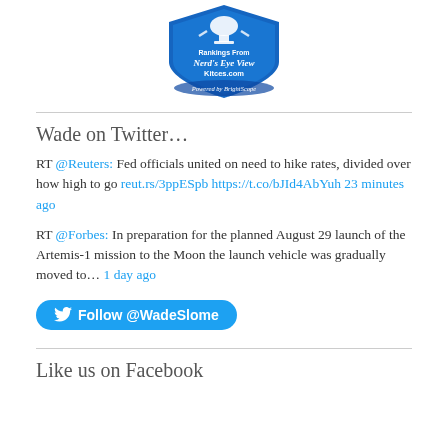[Figure (logo): Nerd's Eye View Kitces.com Rankings badge, powered by BrightScope — circular shield-shaped badge in blue and white with trophy icon]
Wade on Twitter…
RT @Reuters: Fed officials united on need to hike rates, divided over how high to go reut.rs/3ppESpb https://t.co/bJId4AbYuh 23 minutes ago
RT @Forbes: In preparation for the planned August 29 launch of the Artemis-1 mission to the Moon the launch vehicle was gradually moved to… 1 day ago
[Figure (other): Follow @WadeSlome button — blue rounded pill button with Twitter bird icon]
Like us on Facebook